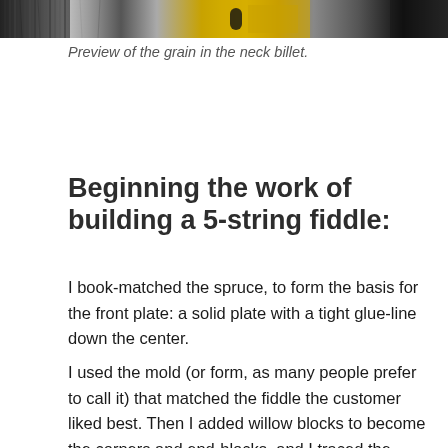[Figure (photo): Close-up photograph of a neck billet showing wood grain texture with yellow/black tools or machinery visible]
Preview of the grain in the neck billet.
Beginning the work of building a 5-string fiddle:
I book-matched the spruce, to form the basis for the front plate: a solid plate with a tight glue-line down the center.
I used the mold (or form, as many people prefer to call it) that matched the fiddle the customer liked best. Then I added willow blocks to become the corners and end-blocks, and I traced the intended shape of the blocks from the mold template onto the back-side of the blocks,